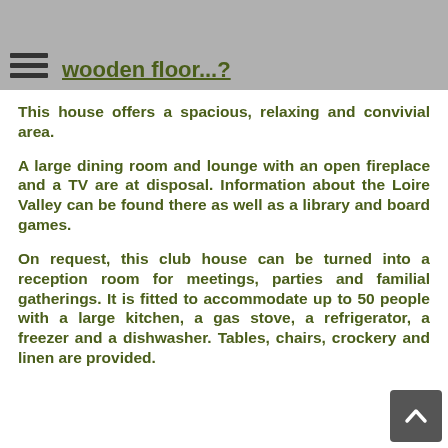beams from the Forest of Berce and a wooden floor...?
This house offers a spacious, relaxing and convivial area.
A large dining room and lounge with an open fireplace and a TV are at disposal. Information about the Loire Valley can be found there as well as a library and board games.
On request, this club house can be turned into a reception room for meetings, parties and familial gatherings. It is fitted to accommodate up to 50 people with a large kitchen, a gas stove, a refrigerator, a freezer and a dishwasher. Tables, chairs, crockery and linen are provided.